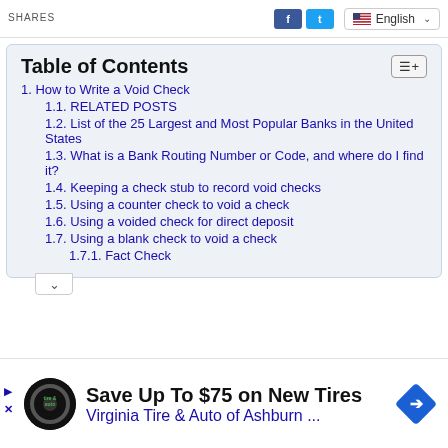SHARES | English
Table of Contents
1. How to Write a Void Check
1.1. RELATED POSTS
1.2. List of the 25 Largest and Most Popular Banks in the United States
1.3. What is a Bank Routing Number or Code, and where do I find it?
1.4. Keeping a check stub to record void checks
1.5. Using a counter check to void a check
1.6. Using a voided check for direct deposit
1.7. Using a blank check to void a check
1.7.1. Fact Check
Save Up To $75 on New Tires
Virginia Tire & Auto of Ashburn ...